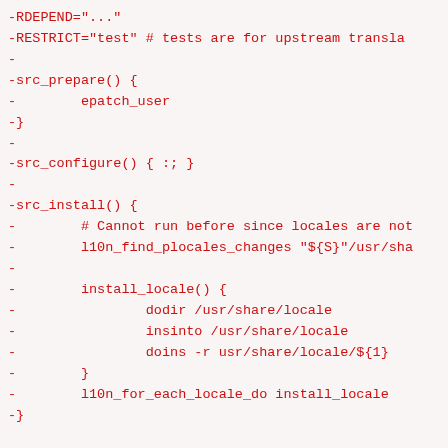-RDEPEND="..."
-RESTRICT="test" # tests are for upstream transla
-
-src_prepare() {
-        epatch_user
-}
-
-src_configure() { :; }
-
-src_install() {
-        # Cannot run before since locales are not
-        l10n_find_plocales_changes "${S}"/usr/sha
-
-        install_locale() {
-                dodir /usr/share/locale
-                insinto /usr/share/locale
-                doins -r usr/share/locale/${1}
-        }
-        l10n_for_each_locale_do install_locale
-}